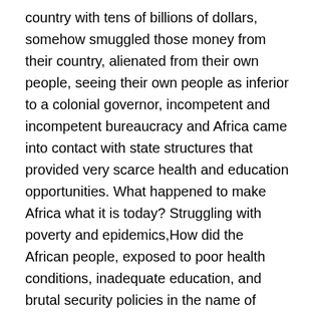country with tens of billions of dollars, somehow smuggled those money from their country, alienated from their own people, seeing their own people as inferior to a colonial governor, incompetent and incompetent bureaucracy and Africa came into contact with state structures that provided very scarce health and education opportunities. What happened to make Africa what it is today? Struggling with poverty and epidemics,How did the African people, exposed to poor health conditions, inadequate education, and brutal security policies in the name of safety, come to these days? Of course, there are three important points here: the first is slavery, the second is the colonial period and finally the post-colonial mismanagement.
Slavery in Africa has a feature that depletes the human resource of Africa. In the previous centuries, but in the XV. The African slave trade, which entered a new process in the century XIX. Until it reached the end of the century 50